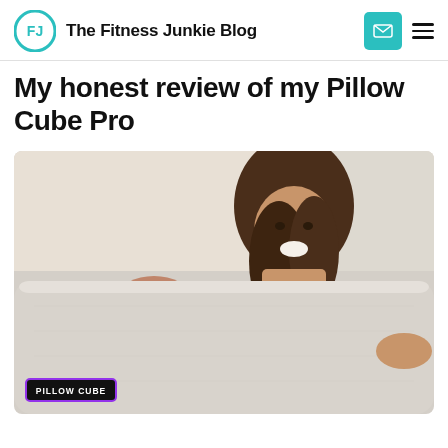The Fitness Junkie Blog
My honest review of my Pillow Cube Pro
[Figure (photo): A smiling woman holding up a large rectangular Pillow Cube Pro pillow in front of her face, looking over it at the camera. The pillow has a light grey fabric cover. In the bottom-left corner is a 'PILLOW CUBE' branded tag with purple border on dark background.]